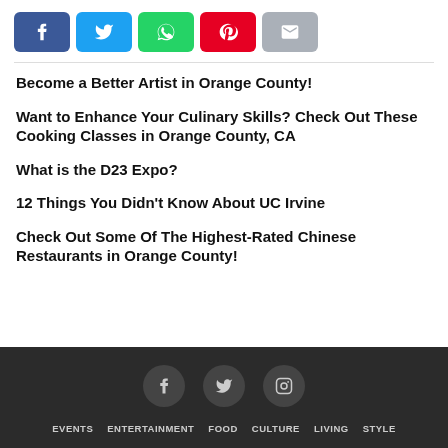[Figure (other): Social share buttons: Facebook, Twitter, WhatsApp, Pinterest, Email]
Become a Better Artist in Orange County!
Want to Enhance Your Culinary Skills? Check Out These Cooking Classes in Orange County, CA
What is the D23 Expo?
12 Things You Didn't Know About UC Irvine
Check Out Some Of The Highest-Rated Chinese Restaurants in Orange County!
EVENTS  ENTERTAINMENT  FOOD  CULTURE  LIVING  STYLE